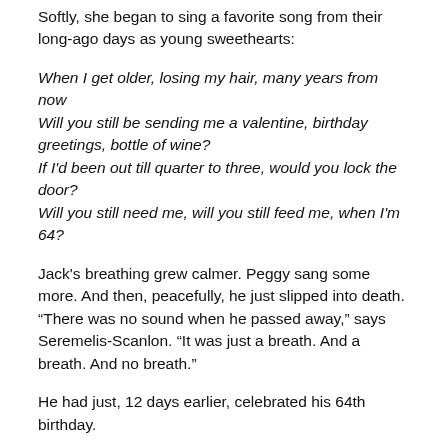Softly, she began to sing a favorite song from their long-ago days as young sweethearts:
When I get older, losing my hair, many years from now
Will you still be sending me a valentine, birthday greetings, bottle of wine?
If I'd been out till quarter to three, would you lock the door?
Will you still need me, will you still feed me, when I'm 64?
Jack's breathing grew calmer. Peggy sang some more. And then, peacefully, he just slipped into death. “There was no sound when he passed away,” says Seremelis-Scanlon. “It was just a breath. And a breath. And no breath.”
He had just, 12 days earlier, celebrated his 64th birthday.
A few hours before dawn, as the hearse pulled away, Danielle walked outside and gazed up into the night sky. “Come here,” she called to her family. “Look at that!” There, directly above the